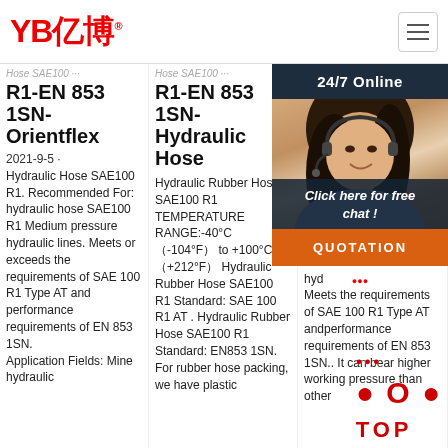YB亿博® — navigation header with hamburger menu
Hose SAE100 R1-EN 853 1SN-Orientflex
2021-9-5 · Hydraulic Hose SAE100 R1. Recommended For: hydraulic hose SAE100 R1 Medium pressure hydraulic lines. Meets or exceeds the requirements of SAE 100 R1 Type AT and performance requirements of EN 853 1SN. Application Fields: Mine hydraulic
Hose SAE100 R1-EN 853 1SN-Hydraulic Hose
Hydraulic Rubber Hose SAE100 R1 TEMPERATURE RANGE:-40°C（-104°F） to +100°C（+212°F） Hydraulic Rubber Hose SAE100 R1 Standard: SAE 100 R1 AT . Hydraulic Rubber Hose SAE100 R1 Standard: EN853 1SN. For rubber hose packing, we have plastic
Rubber Hose SAE100 R1 Hydraulic Hose
202 hyd 100 R1 rein hos med hyd Meets the requirements of SAE 100 R1 Type AT andperformance requirements of EN 853 1SN.. It can bear higher working pressure than other
[Figure (photo): Customer service representative (woman with headset) with 24/7 Online chat overlay, Click here for free chat CTA button, and QUOTATION orange button]